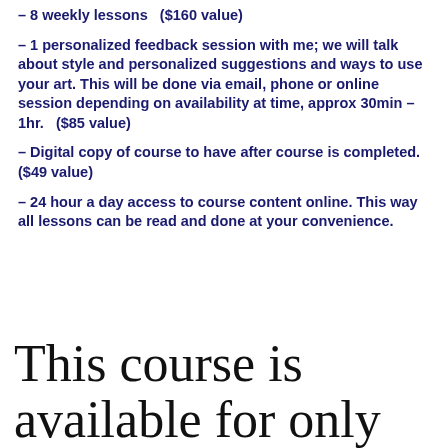– 8 weekly lessons   ($160 value)
– 1 personalized feedback session with me; we will talk about style and personalized suggestions and ways to use your art. This will be done via email, phone or online session depending on availability at time, approx 30min – 1hr.   ($85 value)
– Digital copy of course to have after course is completed. ($49 value)
– 24 hour a day access to course content online. This way all lessons can be read and done at your convenience.
This course is available for only